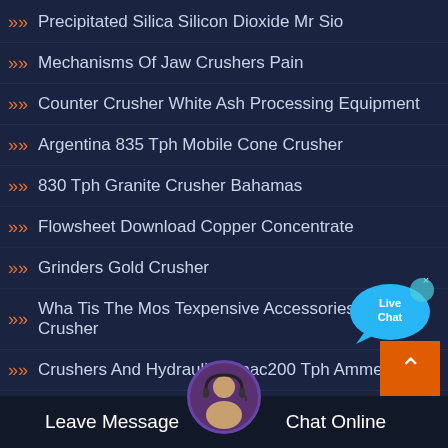Precipitated Silica Silicon Dioxide Mr Sio
Mechanisms Of Jaw Crushers Pain
Counter Crusher White Ash Processing Equipment
Argentina 835 Tph Mobile Cone Crusher
830 Tph Granite Crusher Bahamas
Flowsheet Download Copper Concentrate
Grinders Gold Crusher
Wha Tis The Mos Texpensive Accessories For Jaw Crusher
Crushers And Hydraulic Impac200 Tph Ammers
Jaw Crushers For Sale In Wit...
[Figure (illustration): Live Chat bubble icon with cyan/blue speech bubble and white text]
[Figure (illustration): Orange back-to-top button with white upward caret]
Leave Message  Chat Online
Switzerland Cone Crusher 675 Tph